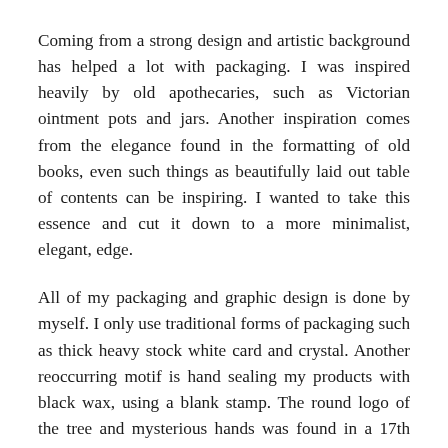Coming from a strong design and artistic background has helped a lot with packaging. I was inspired heavily by old apothecaries, such as Victorian ointment pots and jars. Another inspiration comes from the elegance found in the formatting of old books, even such things as beautifully laid out table of contents can be inspiring. I wanted to take this essence and cut it down to a more minimalist, elegant, edge.
All of my packaging and graphic design is done by myself. I only use traditional forms of packaging such as thick heavy stock white card and crystal. Another reoccurring motif is hand sealing my products with black wax, using a blank stamp. The round logo of the tree and mysterious hands was found in a 17th century book of religious emblems. I had an instant affinity